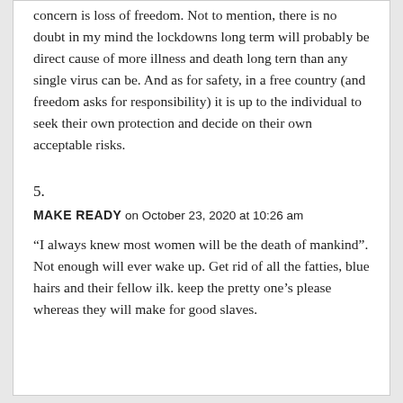concern is loss of freedom. Not to mention, there is no doubt in my mind the lockdowns long term will probably be direct cause of more illness and death long tern than any single virus can be. And as for safety, in a free country (and freedom asks for responsibility) it is up to the individual to seek their own protection and decide on their own acceptable risks.
5.
MAKEREADY on October 23, 2020 at 10:26 am
“I always knew most women will be the death of mankind”. Not enough will ever wake up. Get rid of all the fatties, blue hairs and their fellow ilk. keep the pretty one’s please whereas they will make for good slaves.